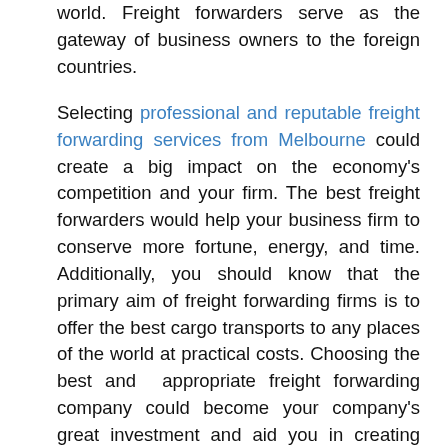world. Freight forwarders serve as the gateway of business owners to the foreign countries.
Selecting professional and reputable freight forwarding services from Melbourne could create a big impact on the economy's competition and your firm. The best freight forwarders would help your business firm to conserve more fortune, energy, and time. Additionally, you should know that the primary aim of freight forwarding firms is to offer the best cargo transports to any places of the world at practical costs. Choosing the best and appropriate freight forwarding company could become your company's great investment and aid you in creating reliable shipments. They would manage all the needed steps with regards to the entire shipment process, from port fees to any other charges needed.